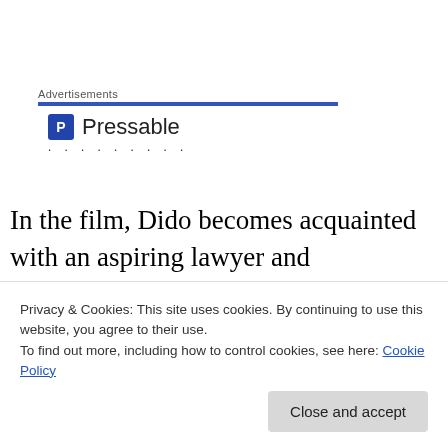[Figure (logo): Pressable advertisement logo with blue P icon and 'Pressable' text, with decorative dots below]
In the film, Dido becomes acquainted with an aspiring lawyer and abolitionist who advocates against the Zong slavers and, in turn, exposes Dido to the realities of slavery and racism that she had previously been sheltered from in the household of Chief Justice Mansfield…
Privacy & Cookies: This site uses cookies. By continuing to use this website, you agree to their use.
To find out more, including how to control cookies, see here: Cookie Policy
trapped within as both a non-white person and a woman.